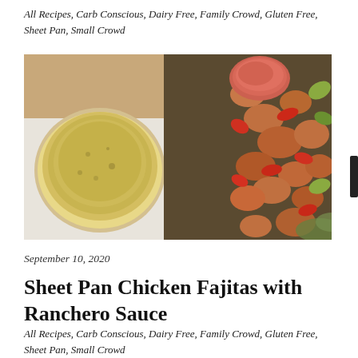All Recipes, Carb Conscious, Dairy Free, Family Crowd, Gluten Free, Sheet Pan, Small Crowd
[Figure (photo): Overhead shot of a sheet pan with chicken fajitas — roasted chicken pieces with colorful red and green bell peppers and onions — alongside a bowl of tortillas, a small cup of ranchero sauce, and a fork on a white cloth napkin.]
September 10, 2020
Sheet Pan Chicken Fajitas with Ranchero Sauce
All Recipes, Carb Conscious, Dairy Free, Family Crowd, Gluten Free, Sheet Pan, Small Crowd